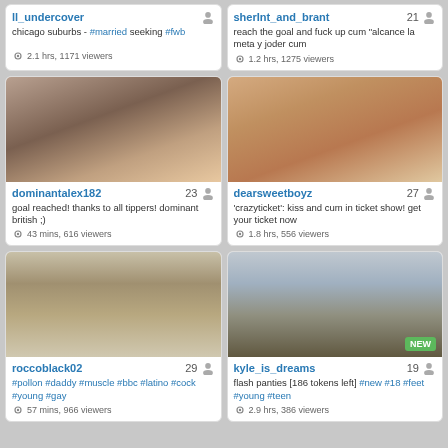ll_undercover 21 — chicago suburbs - #married seeking #fwb — 2.1 hrs, 1171 viewers
sherInt_and_brant 21 — reach the goal and fuck up cum "alcance la meta y joder cum — 1.2 hrs, 1275 viewers
[Figure (photo): Webcam thumbnail of dominantalex182]
[Figure (photo): Webcam thumbnail of dearsweetboyz]
dominantalex182 23 — goal reached! thanks to all tippers! dominant british ;) — 43 mins, 616 viewers
dearsweetboyz 27 — 'crazyticket': kiss and cum in ticket show! get your ticket now — 1.8 hrs, 556 viewers
[Figure (photo): Webcam thumbnail of roccoblack02]
[Figure (photo): Webcam thumbnail of kyle_is_dreams, NEW badge]
roccoblack02 29 — #pollon #daddy #muscle #bbc #latino #cock #young #gay — 57 mins, 966 viewers
kyle_is_dreams 19 — flash panties [186 tokens left] #new #18 #feet #young #teen — 2.9 hrs, 386 viewers